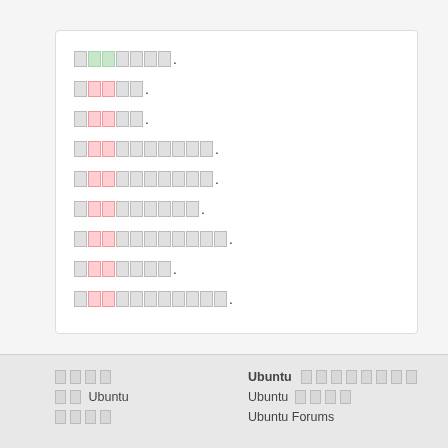[redacted/obscured text lines 1-9]
Ubuntu [obscured]
[obscured] Ubuntu
[obscured]
Ubuntu [obscured]
Ubuntu [obscured]
Ubuntu Forums